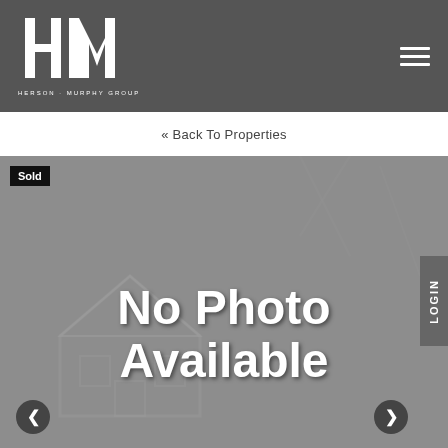[Figure (logo): HM Herson Murphy Group logo in white on dark grey header background]
« Back To Properties
[Figure (photo): Property listing image placeholder showing 'No Photo Available' text overlaid on a faded house background image, with a 'Sold' badge in the top left corner and carousel navigation arrows at the bottom]